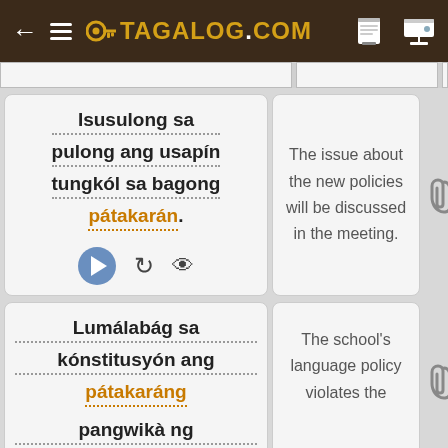← ≡ 🔑TAGALOG.COM
Isusulong sa pulong ang usapín tungkól sa bagong pátakarán.
The issue about the new policies will be discussed in the meeting.
Lumálabág sa kónstitusyón ang pátakaráng pangwikà ng
The school's language policy violates the